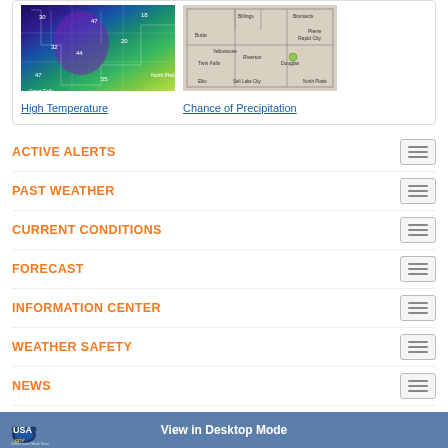[Figure (map): High Temperature weather map showing color-coded temperature bands across a US region, with blues, purples, and greens]
High Temperature
[Figure (map): Chance of Precipitation weather map showing gray-toned regional precipitation probability map]
Chance of Precipitation
ACTIVE ALERTS
PAST WEATHER
CURRENT CONDITIONS
FORECAST
INFORMATION CENTER
WEATHER SAFETY
NEWS
EDUCATION
ABOUT
USA.gov — View in Desktop Mode